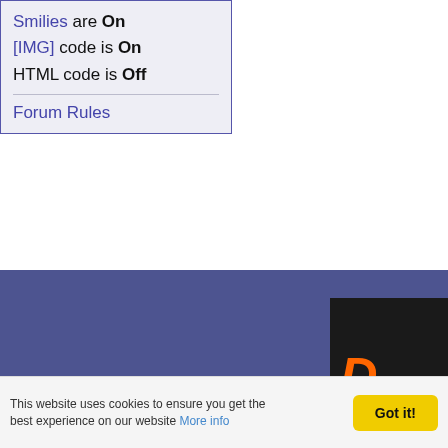Smilies are On
[IMG] code is On
HTML code is Off
Forum Rules
[Figure (logo): Partial dark logo box with orange letter D and white letter C on black background with orange bottom border, set against a purple/blue band background]
This website uses cookies to ensure you get the best experience on our website More info
Got it!